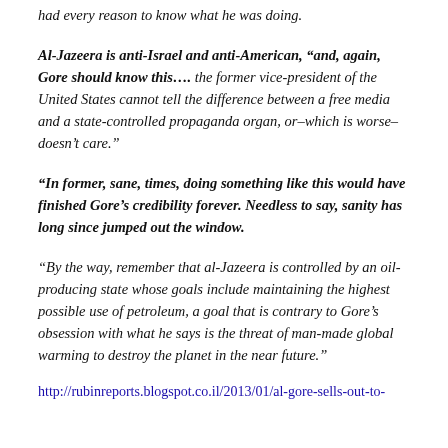had every reason to know what he was doing.
Al-Jazeera is anti-Israel and anti-American, “and, again, Gore should know this…. the former vice-president of the United States cannot tell the difference between a free media and a state-controlled propaganda organ, or–which is worse–doesn’t care.”
“In former, sane, times, doing something like this would have finished Gore’s credibility forever. Needless to say, sanity has long since jumped out the window.
“By the way, remember that al-Jazeera is controlled by an oil-producing state whose goals include maintaining the highest possible use of petroleum, a goal that is contrary to Gore’s obsession with what he says is the threat of man-made global warming to destroy the planet in the near future.”
http://rubinreports.blogspot.co.il/2013/01/al-gore-sells-out-to-